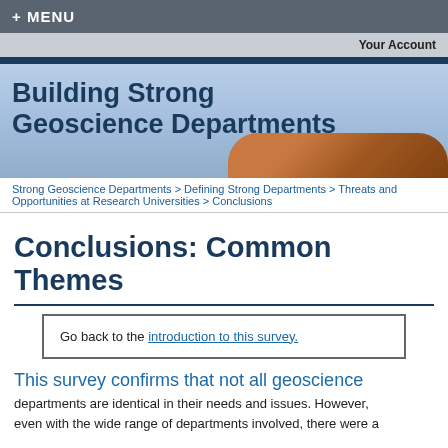+ MENU
Your Account
[Figure (illustration): Banner image with text 'Building Strong Geoscience Departments' over a light blue sky and reddish rock/landscape background]
Strong Geoscience Departments > Defining Strong Departments > Threats and Opportunities at Research Universities > Conclusions
Conclusions: Common Themes
Go back to the introduction to this survey.
This survey confirms that not all geoscience
departments are identical in their needs and issues. However, even with the wide range of departments involved, there were a